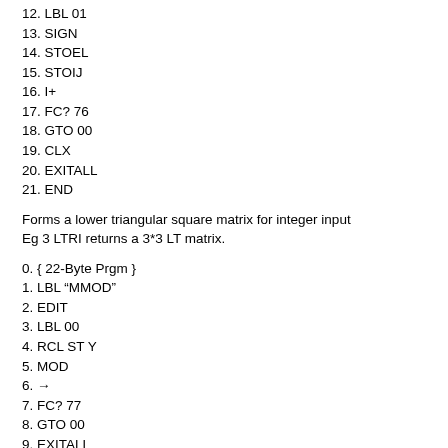12. LBL 01
13. SIGN
14. STOEL
15. STOIJ
16. I+
17. FC? 76
18. GTO 00
19. CLX
20. EXITALL
21. END
Forms a lower triangular square matrix for integer input
Eg 3 LTRI returns a 3*3 LT matrix.
0. { 22-Byte Prgm }
1. LBL "MMOD"
2. EDIT
3. LBL 00
4. RCL ST Y
5. MOD
6. →
7. FC? 77
8. GTO 00
9. EXITALL
10. END
Makes the matrix in X-register modulo the integer in the Y-register
Eg 7 matrix MMOD returns the matrix modulo 7.
0. { 34-Byte Prgm }
1. LBL "A... M"